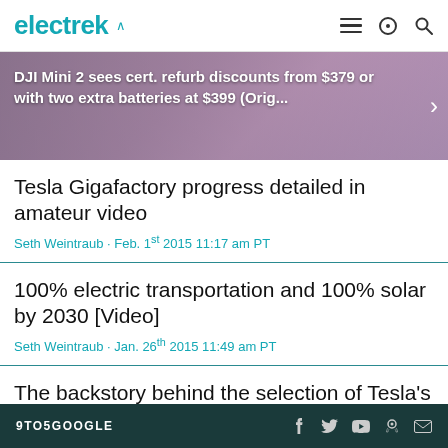electrek
[Figure (photo): Banner image showing DJI Mini 2 drone with promotional text overlay]
DJI Mini 2 sees cert. refurb discounts from $379 or with two extra batteries at $399 (Orig...
Tesla Gigafactory progress detailed in amateur video
Seth Weintraub · Feb. 1st 2015 11:17 am PT
100% electric transportation and 100% solar by 2030 [Video]
Seth Weintraub · Jan. 26th 2015 11:49 am PT
The backstory behind the selection of Tesla's Gigafactory site
Seth Weintraub · Nov. 14th 2014 3:41 pm PT
9TO5GOOGLE